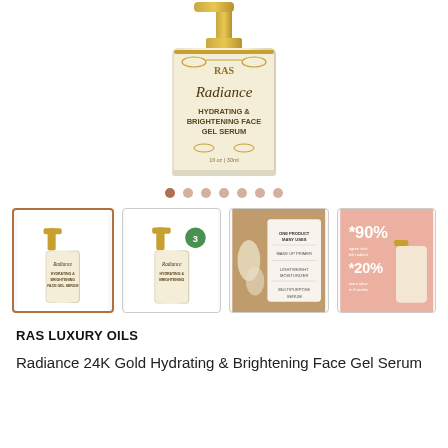[Figure (photo): Main product image: RAS Luxury Oils Radiance Hydrating & Brightening Face Gel Serum bottle with gold pump and cream/white label with gold botanical design]
[Figure (photo): Row of 7 navigation dots, first dot darker (active), rest lighter brown/tan]
[Figure (photo): Four product thumbnails: (1) serum bottle selected with gold border, (2) serum bottle with green badge, (3) swatches/application on skin with text 'One Product Many Uses / Make Up Primer / Lightweight Moisturizer / Multipurpose Serum', (4) pink background with gold serum and text '*90%' and '*20%']
RAS LUXURY OILS
Radiance 24K Gold Hydrating & Brightening Face Gel Serum